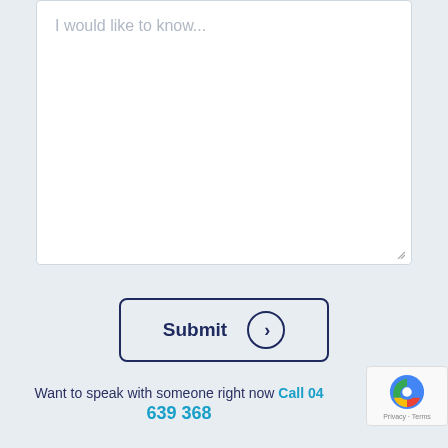[Figure (screenshot): A large white textarea input field with placeholder text 'I would like to know...' and a resize handle at the bottom right]
[Figure (screenshot): A Submit button with rounded rectangle border, bold dark navy text 'Submit' and a circular arrow chevron icon on the right]
Want to speak with someone right now Call 04 639 368
[Figure (logo): reCAPTCHA badge with Google reCAPTCHA logo and Privacy - Terms text]